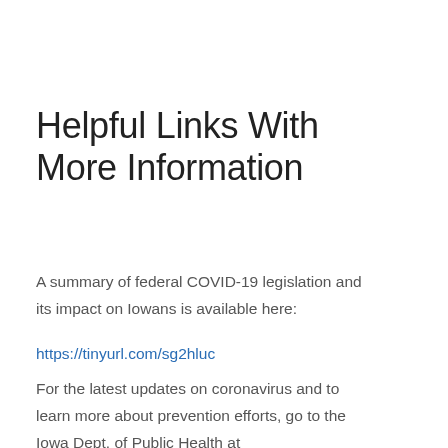Helpful Links With More Information
A summary of federal COVID-19 legislation and its impact on Iowans is available here:
https://tinyurl.com/sg2hluc
For the latest updates on coronavirus and to learn more about prevention efforts, go to the Iowa Dept. of Public Health at